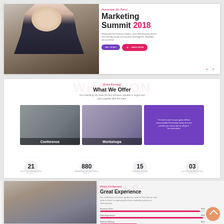[Figure (screenshot): Marketing Summit 2018 website hero section with woman speaker at microphone]
Marketing Summit 2018
[November 26, Paris]
Being great with business leaders come New Business stories meet friendly people and eat great food together. Hopefully see you there!
GET TICKET | LEARN MORE
WHATS ON
[Event Running]
What We Offer
Your attending who seek the best practices speaker to forgive and party together after the event.
[Figure (photo): Conference photo card]
Conference
[Figure (photo): Workshops photo card]
Workshops
It's hard to push on your goals without accountability. Fortunately, family of us are just like you and so that we all get in the same place.
21 SKILLED SPEAKERS
880 AWARDED ATTENDEES
15 COFFEE BREAK
03 KILLER WORKSHOPS
[Figure (photo): Audience applauding at conference]
SKILLS
[About Conference]
Great Experience
Our conferences has best speaker as usual as Test. But we take pride to forher in organizing the best marketing conference which plaeed.
Business Data 95%
Data Experiment 98%
Website Making 35%